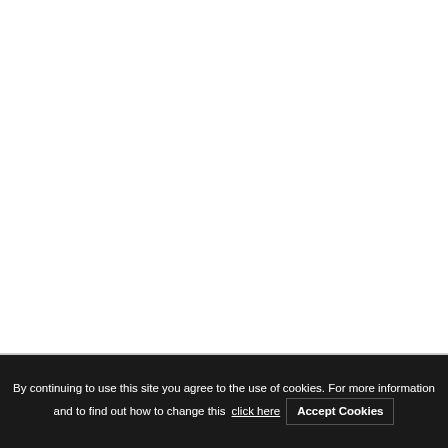Horizontal Drilling Efficiency USA 2020
By continuing to use this site you agree to the use of cookies. For more information and to find out how to change this click here  Accept Cookies